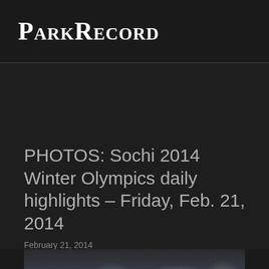ParkRecord
PHOTOS: Sochi 2014 Winter Olympics daily highlights – Friday, Feb. 21, 2014
February 21, 2014
[Figure (photo): Blurry photo showing Olympic rings or similar circular shapes in blue and white tones, partially visible at bottom of page]